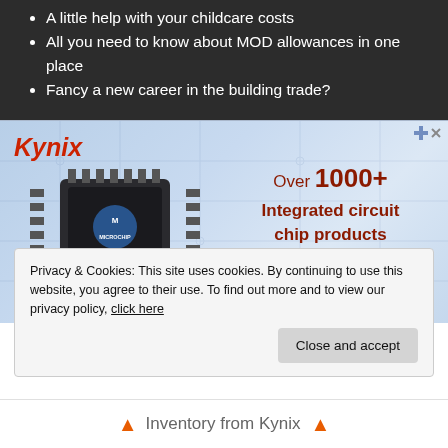A little help with your childcare costs
All you need to know about MOD allowances in one place
Fancy a new career in the building trade?
[Figure (infographic): Kynix advertisement showing a Microchip integrated circuit chip (89T89C516RD2) with text: Over 1000+ Integrated circuit chip products are in stock and available now.]
Privacy & Cookies: This site uses cookies. By continuing to use this website, you agree to their use. To find out more and to view our privacy policy, click here
Close and accept
Inventory from Kynix